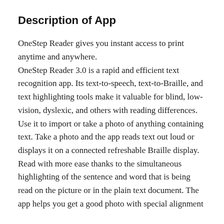Description of App
OneStep Reader gives you instant access to print anytime and anywhere.
OneStep Reader 3.0 is a rapid and efficient text recognition app. Its text-to-speech, text-to-Braille, and text highlighting tools make it valuable for blind, low-vision, dyslexic, and others with reading differences.
Use it to import or take a photo of anything containing text. Take a photo and the app reads text out loud or displays it on a connected refreshable Braille display.
Read with more ease thanks to the simultaneous highlighting of the sentence and word that is being read on the picture or in the plain text document. The app helps you get a good photo with special alignment